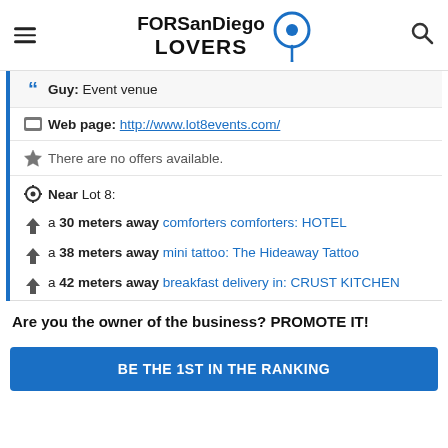FORSanDiego LOVERS
Guy: Event venue
Web page: http://www.lot8events.com/
There are no offers available.
Near Lot 8:
a 30 meters away comforters comforters: HOTEL
a 38 meters away mini tattoo: The Hideaway Tattoo
a 42 meters away breakfast delivery in: CRUST KITCHEN
Are you the owner of the business? PROMOTE IT!
BE THE 1ST IN THE RANKING